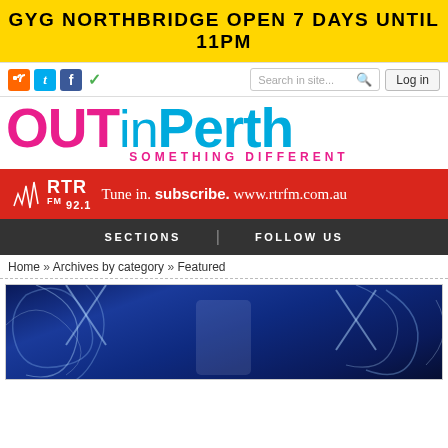[Figure (infographic): Yellow banner advertisement: GYG NORTHBRIDGE OPEN 7 DAYS UNTIL 11PM]
[Figure (screenshot): Navigation bar with social media icons (RSS, Twitter, Facebook, checkmark), search box, and Log in button]
[Figure (logo): OUTinPerth logo with tagline SOMETHING DIFFERENT. OUT in pink/magenta, inPerth in sky blue]
[Figure (infographic): RTR FM 92.1 red advertisement banner: Tune in. SUBSCRIBE. WWW.RTRFM.COM.AU]
[Figure (screenshot): Dark navigation bar with SECTIONS and FOLLOW US menu items]
Home » Archives by category » Featured
[Figure (photo): Blue-toned fantasy/theatrical photo showing a figure in white against ornate blue decorative swirling ice/snow backdrop]